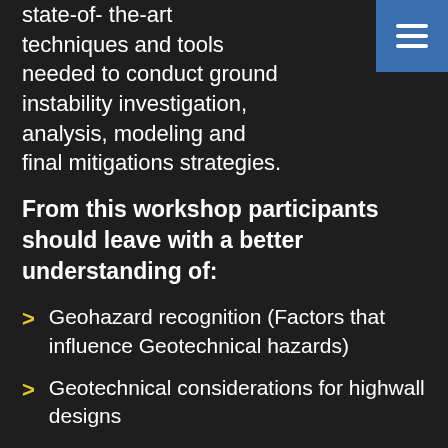state-of- the-art techniques and tools needed to conduct ground instability investigation, analysis, modeling and final mitigations strategies.
From this workshop participants should leave with a better understanding of:
Geohazard recognition (Factors that influence Geotechnical hazards)
Geotechnical considerations for highwall designs
Highwall/slope remediation